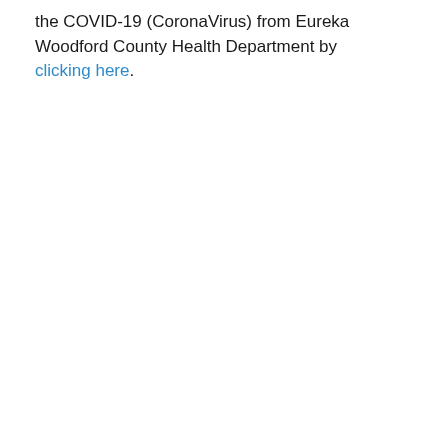the COVID-19 (CoronaVirus) from Eureka Woodford County Health Department by clicking here.